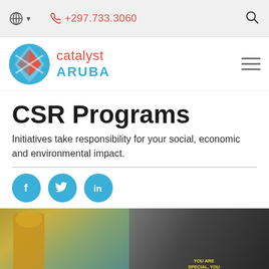+297.733.3060
[Figure (logo): Catalyst Aruba logo with globe-like icon in red and blue, text 'catalyst ARUBA']
CSR Programs
Initiatives take responsibility for your social, economic and environmental impact.
[Figure (infographic): Three teal/cyan circular social media icons: Facebook (f), Twitter (bird), LinkedIn (in)]
[Figure (photo): Photo of people in a fitness or cycling class, person in yellow shirt on left, close-up of bicycle handlebars on right with 'YOU ARE SPECIAL, YOU ARE LOVED!' text on shirt]